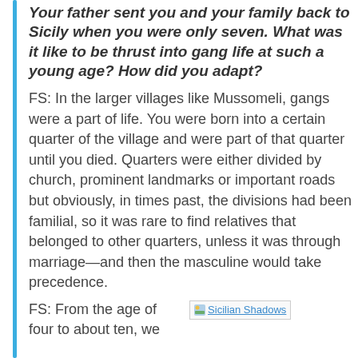Your father sent you and your family back to Sicily when you were only seven. What was it like to be thrust into gang life at such a young age? How did you adapt?
FS: In the larger villages like Mussomeli, gangs were a part of life. You were born into a certain quarter of the village and were part of that quarter until you died. Quarters were either divided by church, prominent landmarks or important roads but obviously, in times past, the divisions had been familial, so it was rare to find relatives that belonged to other quarters, unless it was through marriage—and then the masculine would take precedence.
FS: From the age of four to about ten, we
[Figure (other): Inline image thumbnail with text 'Sicilian Shadows']